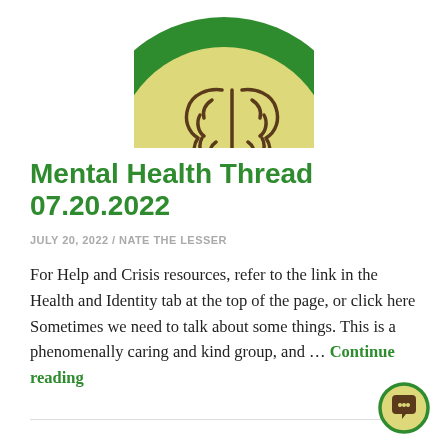[Figure (logo): Green circle logo with yellow inner circle and brown brain illustration, partially cropped at top of page]
Mental Health Thread 07.20.2022
JULY 20, 2022 / NATE THE LESSER
For Help and Crisis resources, refer to the link in the Health and Identity tab at the top of the page, or click here Sometimes we need to talk about some things. This is a phenomenally caring and kind group, and … Continue reading
[Figure (illustration): Small green-bordered yellow circle with brown chat/speech bubble icon, bottom right corner]